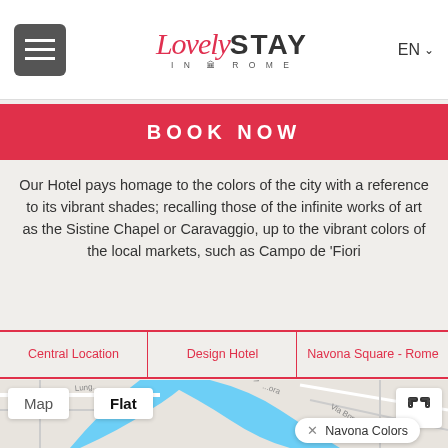[Figure (screenshot): Website header with hamburger menu, LovelySTAY In Rome logo, and EN language selector]
BOOK NOW
Our Hotel pays homage to the colors of the city with a reference to its vibrant shades; recalling those of the infinite works of art as the Sistine Chapel or Caravaggio, up to the vibrant colors of the local markets, such as Campo de 'Fiori
Central Location
Design Hotel
Navona Square - Rome
[Figure (map): Map showing Rome area near Navona Square with river (blue), roads, and a popup labeled 'Navona Colors'. Map/Flat toggle buttons and expand icon visible.]